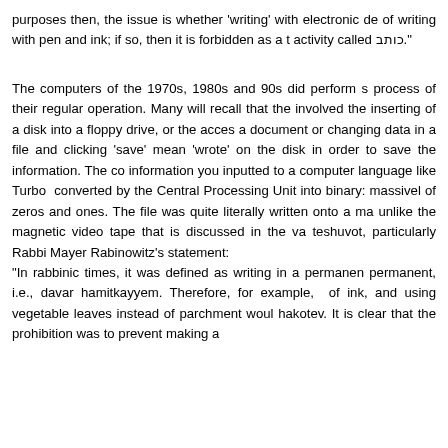purposes then, the issue is whether 'writing' with electronic de of writing with pen and ink; if so, then it is forbidden as a t activity called כותב.
The computers of the 1970s, 1980s and 90s did perform s process of their regular operation. Many will recall that the involved the inserting of a disk into a floppy drive, or the acces a document or changing data in a file and clicking 'save' mean 'wrote' on the disk in order to save the information. The co information you inputted to a computer language like Turbo converted by the Central Processing Unit into binary: massivel of zeros and ones. The file was quite literally written onto a ma unlike the magnetic video tape that is discussed in the va teshuvot, particularly Rabbi Mayer Rabinowitz's statement: "In rabbinic times, it was defined as writing in a permanen permanent, i.e., davar hamitkayyem. Therefore, for example, of ink, and using vegetable leaves instead of parchment woul hakotev. It is clear that the prohibition was to prevent making a